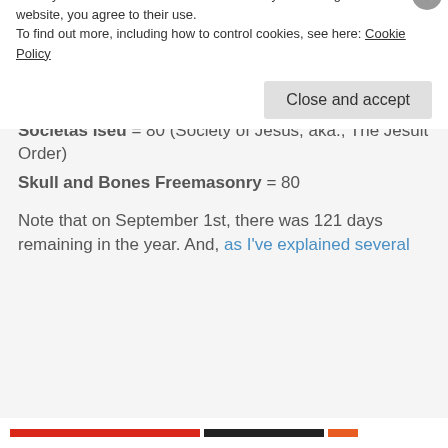The Beast = 80 (aka., Satan)
Synagogue of Satan = 80
The Morning Star = 80 (as in Lucifer)
Satan Worship = 80
Societas Iseu = 80 (Society of Jesus, aka., The Jesuit Order)
Skull and Bones Freemasonry = 80
Note that on September 1st, there was 121 days remaining in the year. And, as I've explained several [times, the connection to Revelation with the...]
Privacy & Cookies: This site uses cookies. By continuing to use this website, you agree to their use.
To find out more, including how to control cookies, see here: Cookie Policy
Close and accept